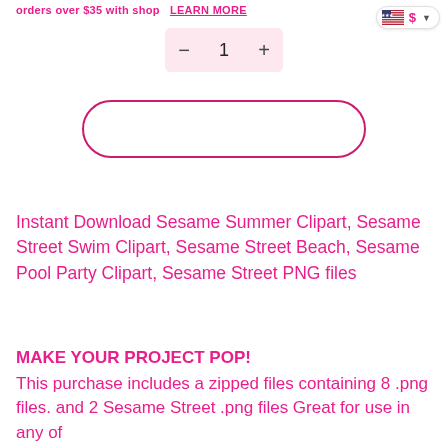orders over $35 with shop pay  LEARN MORE
[Figure (screenshot): Quantity selector showing minus button, value 1, plus button on pink background]
[Figure (screenshot): Add to cart button outline pill shape with pink border]
Instant Download Sesame Summer Clipart, Sesame Street Swim Clipart, Sesame Street Beach, Sesame Pool Party Clipart, Sesame Street PNG files
MAKE YOUR PROJECT POP!
This purchase includes a zipped files containing 8 .png files. and 2 Sesame Street .png files Great for use in any of